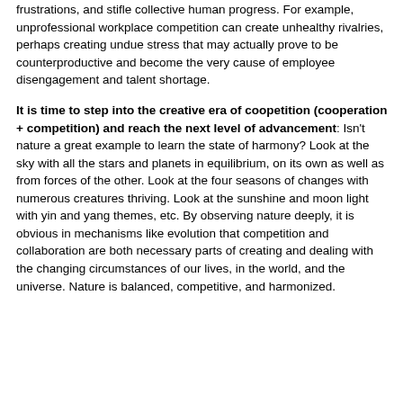harmonized societies we are stepping into unhealthy competitions enhance extreme thinking, enlarges gaps, and cause multilevel frustrations, and stifle collective human progress. For example, unprofessional workplace competition can create unhealthy rivalries, perhaps creating undue stress that may actually prove to be counterproductive and become the very cause of employee disengagement and talent shortage.
It is time to step into the creative era of coopetition (cooperation + competition) and reach the next level of advancement: Isn't nature a great example to learn the state of harmony? Look at the sky with all the stars and planets in equilibrium, on its own as well as from forces of the other. Look at the four seasons of changes with numerous creatures thriving. Look at the sunshine and moon light with yin and yang themes, etc. By observing nature deeply, it is obvious in mechanisms like evolution that competition and collaboration are both necessary parts of creating and dealing with the changing circumstances of our lives, in the world, and the universe. Nature is balanced, competitive, and harmonized.